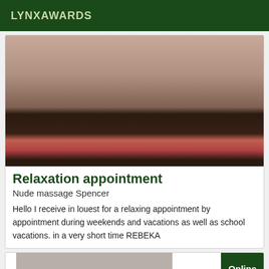LYNXAWARDS
[Figure (photo): Close-up photo of a person's torso wearing a dark floral strapless top with a red flower detail, navel piercing visible]
Relaxation appointment
Nude massage Spencer
Hello I receive in louest for a relaxing appointment by appointment during weekends and vacations as well as school vacations. in a very short time REBEKA
Online